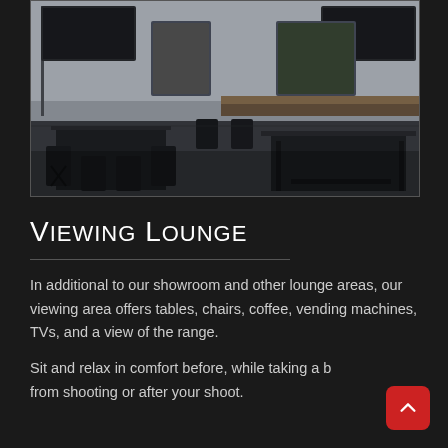[Figure (photo): Interior photo of a viewing lounge area with dark metal tables and chairs, white walls with windows showing outdoor greenery, and a counter or bar along the back wall.]
Viewing Lounge
In additional to our showroom and other lounge areas, our viewing area offers tables, chairs, coffee, vending machines, TVs, and a view of the range.
Sit and relax in comfort before, while taking a break from shooting or after your shoot.